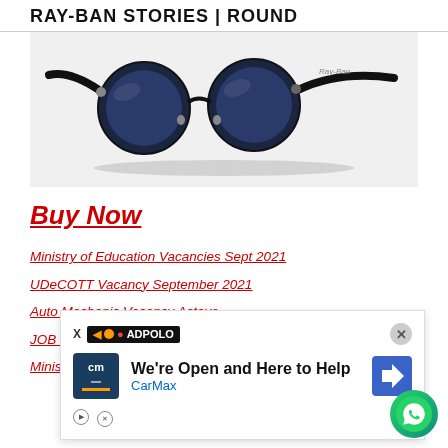RAY-BAN STORIES | ROUND
[Figure (photo): Ray-Ban Stories Round smart sunglasses with dark blue round lenses and black frame, shown at an angle on a light grey background.]
Buy Now
Ministry of Education Vacancies Sept 2021
UDeCOTT Vacancy September 2021
Auto Mechanic Vacancy Actavo
JOB ... arketing Manager
Minis...
[Figure (screenshot): Ad overlay: X ADPOLO banner at top with close button, then CarMax ad showing 'We're Open and Here to Help' with CarMax logo and navigation icon.]
1